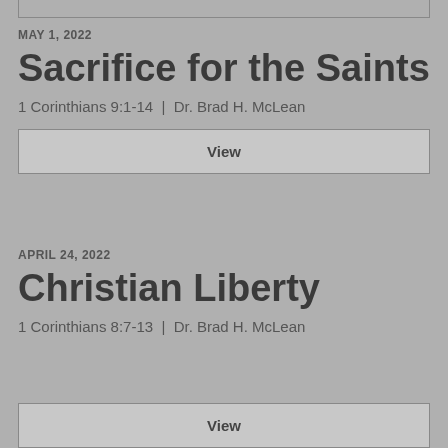MAY 1, 2022
Sacrifice for the Saints
1 Corinthians 9:1-14 | Dr. Brad H. McLean
View
APRIL 24, 2022
Christian Liberty
1 Corinthians 8:7-13 | Dr. Brad H. McLean
View